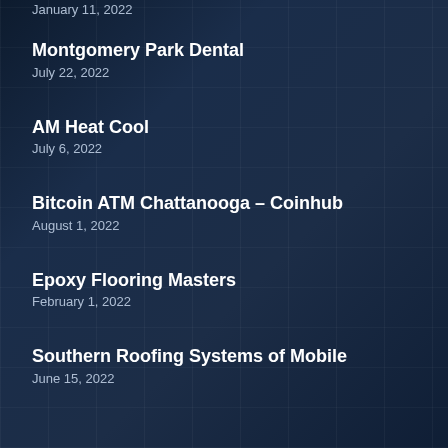January 11, 2022
Montgomery Park Dental
July 22, 2022
AM Heat Cool
July 6, 2022
Bitcoin ATM Chattanooga – Coinhub
August 1, 2022
Epoxy Flooring Masters
February 1, 2022
Southern Roofing Systems of Mobile
June 15, 2022